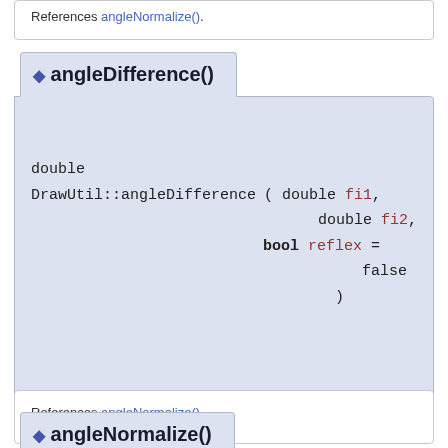References angleNormalize().
◆ angleDifference()
double DrawUtil::angleDifference ( double fi1, double fi2, bool reflex = false )
References angleNormalize().
◆ angleNormalize()